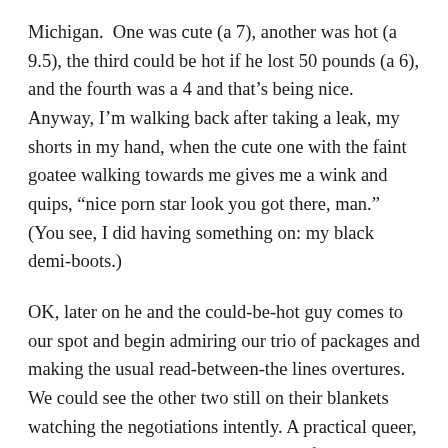Michigan.  One was cute (a 7), another was hot (a 9.5), the third could be hot if he lost 50 pounds (a 6), and the fourth was a 4 and that’s being nice. Anyway, I’m walking back after taking a leak, my shorts in my hand, when the cute one with the faint goatee walking towards me gives me a wink and quips, “nice porn star look you got there, man.” (You see, I did having something on: my black demi-boots.)
OK, later on he and the could-be-hot guy comes to our spot and begin admiring our trio of packages and making the usual read-between-the lines overtures. We could see the other two still on their blankets watching the negotiations intently. A practical queer, I just blurted it out, “So you and your friends wanna fuck around?”